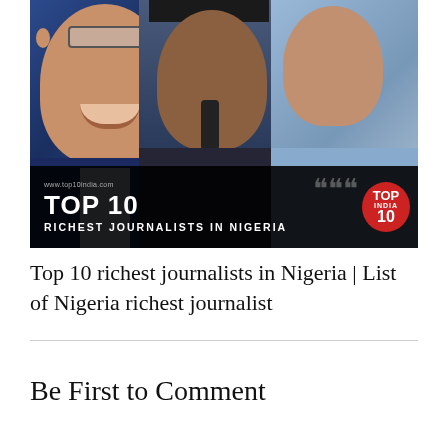[Figure (photo): Composite photo of three Nigerian journalists with a black banner overlay reading 'TOP 10 RICHEST JOURNALISTS IN NIGERIA' and a red circular Top10 logo. Three people visible: a smiling man in a suit on the left, a man with a hat speaking into a microphone in the center, and a woman in a blue lace dress on the right.]
Top 10 richest journalists in Nigeria | List of Nigeria richest journalist
Be First to Comment